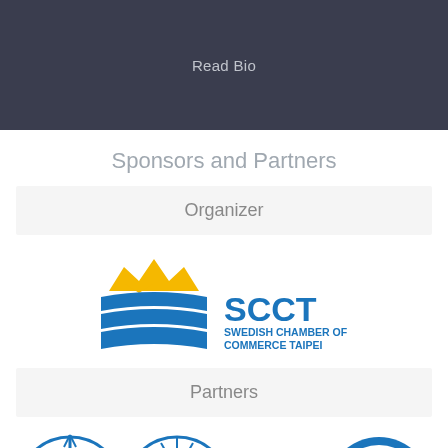Read Bio
Sponsors and Partners
Organizer
[Figure (logo): SCCT Swedish Chamber of Commerce Taipei logo — crown in gold above blue layered ribbon shapes, with 'SCCT' in bold blue text and 'SWEDISH CHAMBER OF COMMERCE TAIPEI' in smaller blue text]
Partners
[Figure (logo): Partial logos of partner organizations at the bottom of the page, including partial circular logos in blue]